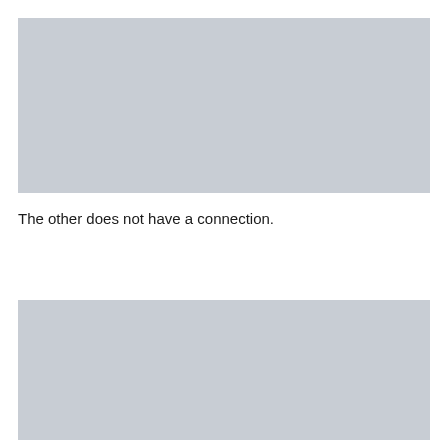[Figure (other): Gray placeholder image block at top of page]
The other does not have a connection.
[Figure (other): Gray placeholder image block at bottom of page]